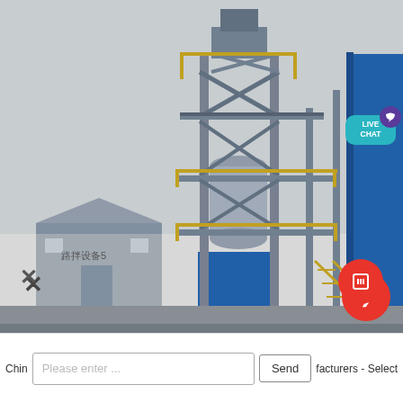[Figure (photo): Industrial asphalt mixing plant or similar tall multi-story steel structure tower with blue base, yellow railings, crossbeam steel framework, stairs and platforms at multiple levels, photographed from ground level. A smaller gray warehouse building is visible at left. The photo is taken outdoors under an overcast sky. A 'LIVE CHAT' turquoise speech bubble UI element is overlaid in the top-right corner. An X close button and a red circle button with an arrow icon are overlaid at the bottom. Chinese text label is visible on the warehouse building reading '路拌设备5' or similar.]
Chin
Please enter ...
Send
facturers - Select